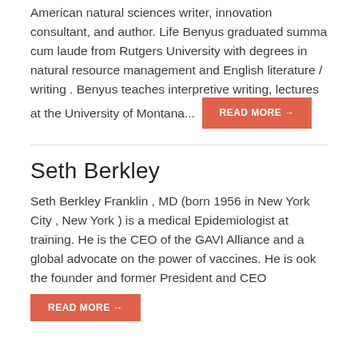American natural sciences writer, innovation consultant, and author. Life Benyus graduated summa cum laude from Rutgers University with degrees in natural resource management and English literature / writing . Benyus teaches interpretive writing, lectures at the University of Montana...
READ MORE →
Seth Berkley
Seth Berkley Franklin , MD (born 1956 in New York City , New York ) is a medical Epidemiologist at training. He is the CEO of the GAVI Alliance and a global advocate on the power of vaccines. He is ook the founder and former President and CEO